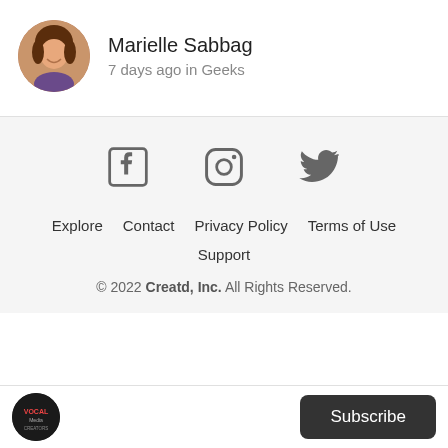[Figure (photo): Circular avatar photo of Marielle Sabbag, a woman with brown hair, smiling]
Marielle Sabbag
7 days ago in Geeks
[Figure (infographic): Footer section with Facebook, Instagram, and Twitter social media icons, navigation links (Explore, Contact, Privacy Policy, Terms of Use, Support), and copyright notice: © 2022 Creatd, Inc. All Rights Reserved.]
© 2022 Creatd, Inc. All Rights Reserved.